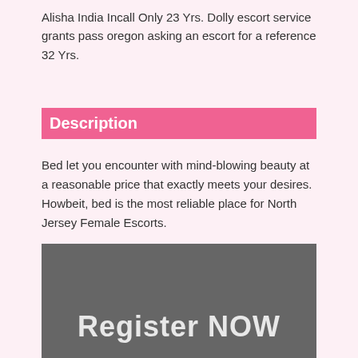Alisha India Incall Only 23 Yrs. Dolly escort service grants pass oregon asking an escort for a reference 32 Yrs.
Description
Bed let you encounter with mind-blowing beauty at a reasonable price that exactly meets your desires. Howbeit, bed is the most reliable place for North Jersey Female Escorts.
[Figure (other): Dark grey banner with large white text reading 'Register NOW']